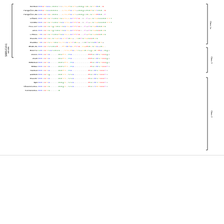[Figure (other): Sequence alignment of SARS-CoV-1 variants and related coronaviruses showing amino acid sequences for RaTG13, Pangolin-GD, Pangolin-GX, Urbani, Sin852, PC4-127, WIV1, LYRa11, Rs4231, Rs4084, BM48-31, BtKY72, ZXC21, ZC45, HeB2013, RM092, YN2013, As6526, Rs4237, Rp3, Shaanxi2011, Yunnan2011, Rs4247, HKU3-1, Longquan140, HuB2013 with class annotations (Class 1a, Class 3, Class 2)]
Download figure
Open in new tab
Extended Data Fig. 9 | Averaged escape maps of antibodies in epitope group A-D.
We use cookies on this site to enhance your user experience. By clicking any link on this page you are giving your consent for us to set cookies.